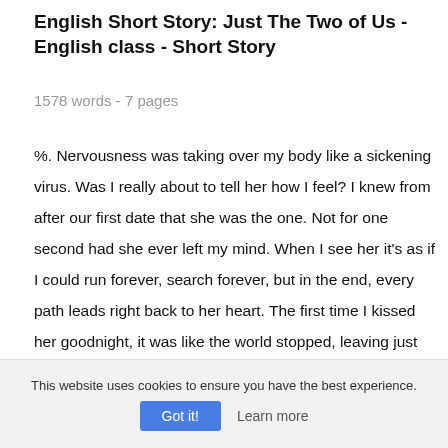English Short Story: Just The Two of Us - English class - Short Story
1578 words - 7 pages
%. Nervousness was taking over my body like a sickening virus. Was I really about to tell her how I feel? I knew from after our first date that she was the one. Not for one second had she ever left my mind. When I see her it’s as if I could run forever, search forever, but in the end, every path leads right back to her heart. The first time I kissed her goodnight, it was like the world stopped, leaving just the two of us to
This website uses cookies to ensure you have the best experience.